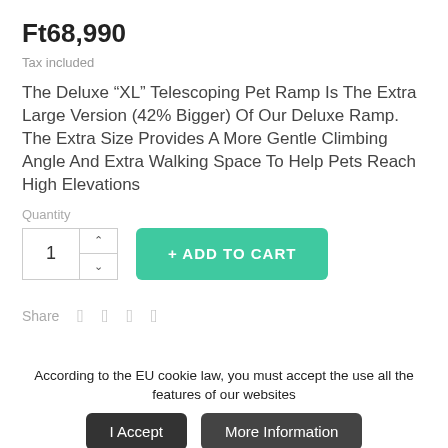Ft68,990
Tax included
The Deluxe “XL” Telescoping Pet Ramp Is The Extra Large Version (42% Bigger) Of Our Deluxe Ramp. The Extra Size Provides A More Gentle Climbing Angle And Extra Walking Space To Help Pets Reach High Elevations
Quantity
Share
According to the EU cookie law, you must accept the use all the features of our websites